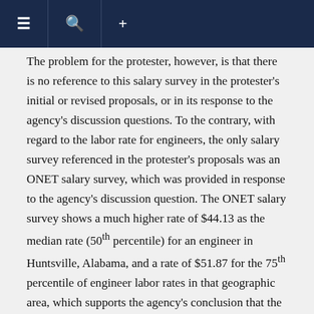≡  🔍  +
The problem for the protester, however, is that there is no reference to this salary survey in the protester's initial or revised proposals, or in its response to the agency's discussion questions. To the contrary, with regard to the labor rate for engineers, the only salary survey referenced in the protester's proposals was an ONET salary survey, which was provided in response to the agency's discussion question. The ONET salary survey shows a much higher rate of $44.13 as the median rate (50th percentile) for an engineer in Huntsville, Alabama, and a rate of $51.87 for the 75th percentile of engineer labor rates in that geographic area, which supports the agency's conclusion that the protester's initially proposed rate was unrealistically